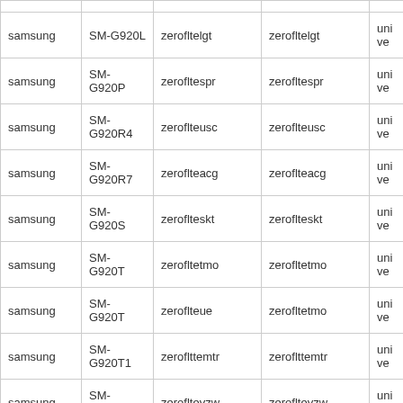| samsung | SM-G920L | zerofltelgt | zerofltelgt | unive |
| samsung | SM-G920P | zerofltespr | zerofltespr | unive |
| samsung | SM-G920R4 | zeroflteusc | zeroflteusc | unive |
| samsung | SM-G920R7 | zeroflteacg | zeroflteacg | unive |
| samsung | SM-G920S | zeroflteskt | zeroflteskt | unive |
| samsung | SM-G920T | zerofltetmo | zerofltetmo | unive |
| samsung | SM-G920T | zeroflteue | zerofltetmo | unive |
| samsung | SM-G920T1 | zeroflttemtr | zeroflttemtr | unive |
| samsung | SM-G920V | zerofltevzw | zerofltevzw | unive |
| samsung | SM-G920W8 | zerofltebmc | zerofltebmc | unive |